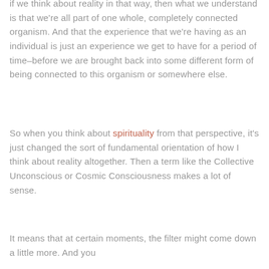if we think about reality in that way, then what we understand is that we're all part of one whole, completely connected organism. And that the experience that we're having as an individual is just an experience we get to have for a period of time–before we are brought back into some different form of being connected to this organism or somewhere else.
So when you think about spirituality from that perspective, it's just changed the sort of fundamental orientation of how I think about reality altogether. Then a term like the Collective Unconscious or Cosmic Consciousness makes a lot of sense.
It means that at certain moments, the filter might come down a little more. And you